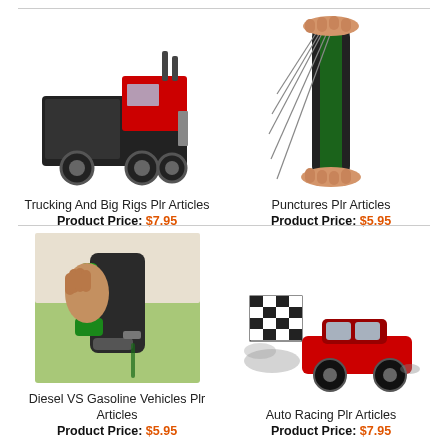[Figure (photo): LEGO red semi-truck / big rig model]
Trucking And Big Rigs Plr Articles
Product Price: $7.95
[Figure (photo): Hand bending a bicycle tire, showing puncture repair]
Punctures Plr Articles
Product Price: $5.95
[Figure (photo): Hand holding a green fuel pump nozzle at a gas station]
Diesel VS Gasoline Vehicles Plr Articles
Product Price: $5.95
[Figure (illustration): Red sports car racing with checkered flag and speed effect]
Auto Racing Plr Articles
Product Price: $7.95